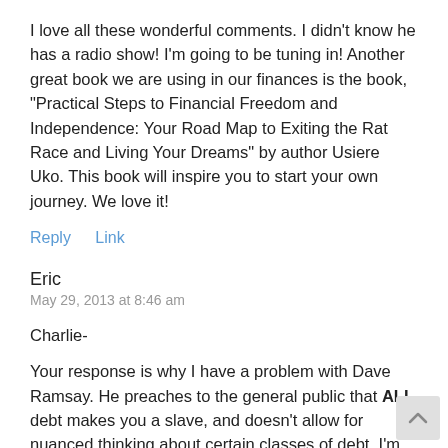I love all these wonderful comments. I didn’t know he has a radio show! I’m going to be tuning in! Another great book we are using in our finances is the book, “Practical Steps to Financial Freedom and Independence: Your Road Map to Exiting the Rat Race and Living Your Dreams” by author Usiere Uko. This book will inspire you to start your own journey. We love it!
Reply   Link
Eric
May 29, 2013 at 8:46 am
Charlie-
Your response is why I have a problem with Dave Ramsay. He preaches to the general public that ALL debt makes you a slave, and doesn’t allow for nuanced thinking about certain classes of debt. I’m talking about mortgage debt. As long as you are investing a portion of